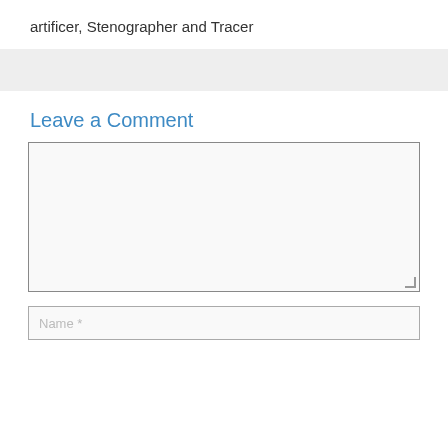artificer, Stenographer and Tracer
Leave a Comment
[Comment textarea field]
Name *